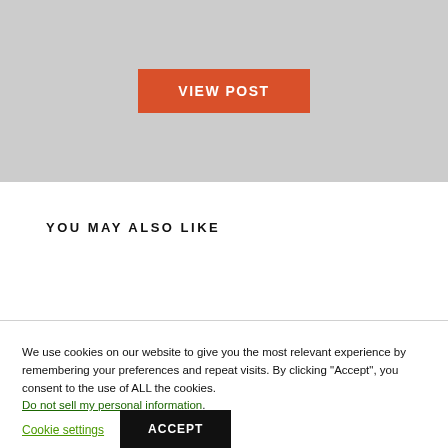[Figure (other): Gray placeholder image area with a VIEW POST button centered in it]
YOU MAY ALSO LIKE
We use cookies on our website to give you the most relevant experience by remembering your preferences and repeat visits. By clicking “Accept”, you consent to the use of ALL the cookies. Do not sell my personal information.
Cookie settings
ACCEPT